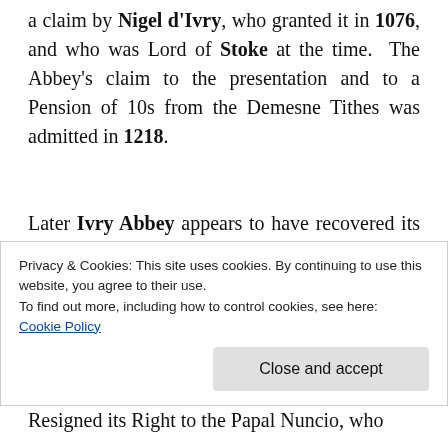a claim by Nigel d'Ivry, who granted it in 1076, and who was Lord of Stoke at the time. The Abbey's claim to the presentation and to a Pension of 10s from the Demesne Tithes was admitted in 1218.
Later Ivry Abbey appears to have recovered its right to the Advowson and the Pension from the Wooburns and to have Granted them to the Benedictine Nunnery of Little Marlow (Bucks). Gunnora, the Prioress from 1265 to 1271, at all
Privacy & Cookies: This site uses cookies. By continuing to use this website, you agree to their use.
To find out more, including how to control cookies, see here:
Cookie Policy
Close and accept
Resigned its Right to the Papal Nuncio, who